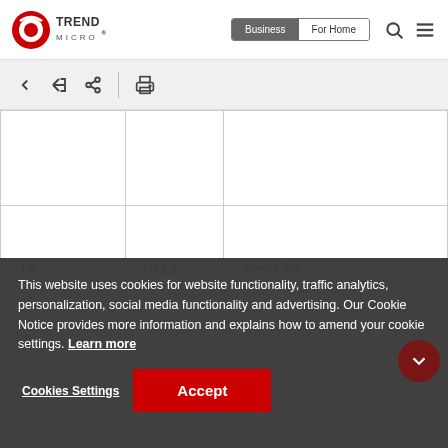[Figure (logo): Trend Micro logo with red circular icon and TREND MICRO text]
[Figure (screenshot): Navigation bar with Business and For Home tabs, search and menu icons]
[Figure (screenshot): Toolbar with back, share, and print icons on grey background]
|  |  |  |
| --- | --- | --- |
|  |  |  |
| 19 | 0x13 | Send file |
| 5 | 0x5 | groups |
| 20 | 0x14 | Copy browser data |
This website uses cookies for website functionality, traffic analytics, personalization, social media functionality and advertising. Our Cookie Notice provides more information and explains how to amend your cookie settings. Learn more
Cookies Settings    Accept